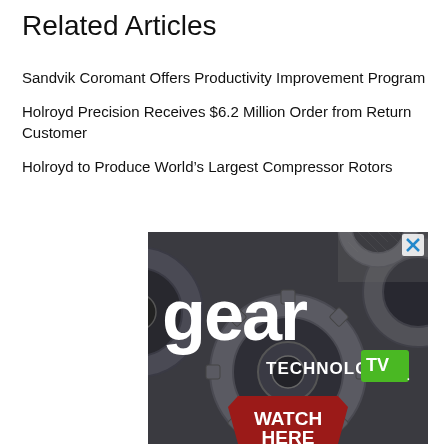Related Articles
Sandvik Coromant Offers Productivity Improvement Program
Holroyd Precision Receives $6.2 Million Order from Return Customer
Holroyd to Produce World’s Largest Compressor Rotors
[Figure (illustration): Gear Technology TV advertisement showing large metallic gears in the background with 'gear TECHNOLOGY TV' logo and a red 'WATCH HERE' button. A small X close button appears in the top-right corner.]